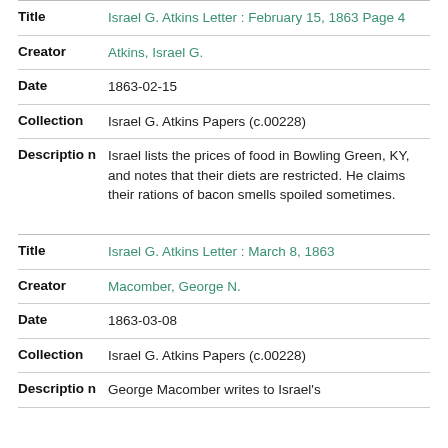| Field | Value |
| --- | --- |
| Title | Israel G. Atkins Letter : February 15, 1863 Page 4 |
| Creator | Atkins, Israel G. |
| Date | 1863-02-15 |
| Collection | Israel G. Atkins Papers (c.00228) |
| Description | Israel lists the prices of food in Bowling Green, KY, and notes that their diets are restricted. He claims their rations of bacon smells spoiled sometimes. |
| Field | Value |
| --- | --- |
| Title | Israel G. Atkins Letter : March 8, 1863 |
| Creator | Macomber, George N. |
| Date | 1863-03-08 |
| Collection | Israel G. Atkins Papers (c.00228) |
| Description | George Macomber writes to Israel's |